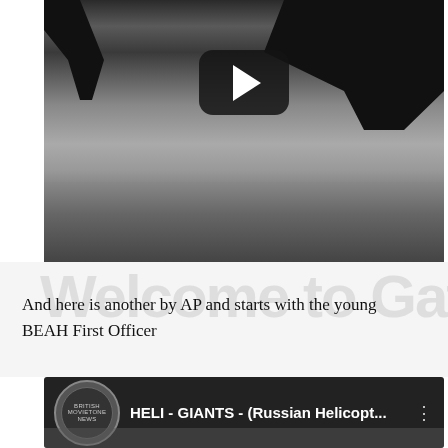[Figure (screenshot): Black and white video thumbnail showing underside of aircraft with landing gear visible, low-angle shot from ground level, cloudy sky visible, with a YouTube play button overlay in the center]
And here is another by AP and starts with the young BEAH First Officer
[Figure (screenshot): YouTube video thumbnail showing dark background with British Movietone logo (circular badge) on the left, title text reading 'HELI - GIANTS - (Russian Helicopt...' and a three-dot menu icon on the right]